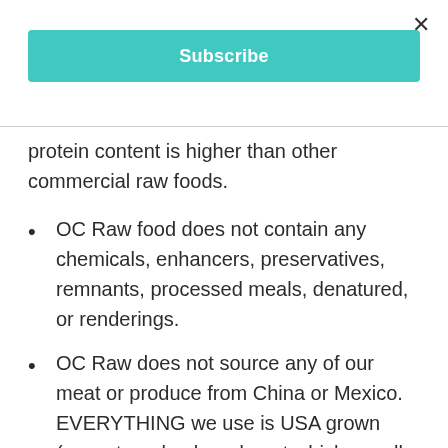×
[Figure (other): Teal Subscribe button]
protein content is higher than other commercial raw foods.
OC Raw food does not contain any chemicals, enhancers, preservatives, remnants, processed meals, denatured, or renderings.
OC Raw does not source any of our meat or produce from China or Mexico. EVERYTHING we use is USA grown (except our lamb and goat which usually comes from New Zealand or Australia).
WARNING ~ this food is not meant for